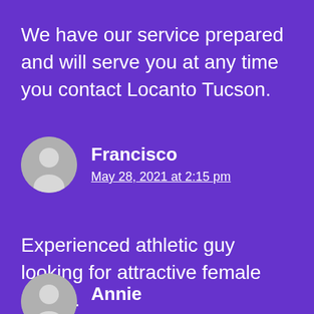We have our service prepared and will serve you at any time you contact Locanto Tucson.
Francisco
May 28, 2021 at 2:15 pm
Experienced athletic guy looking for attractive female escort.
Annie